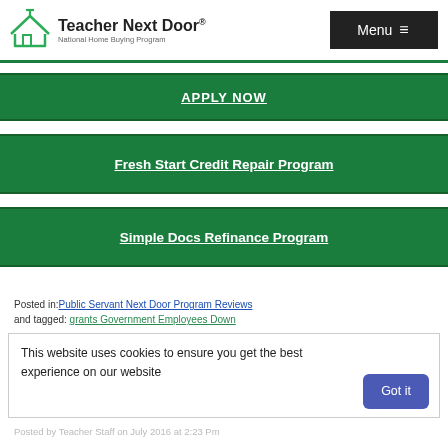Teacher Next Door® National Home Buying Program | Menu
APPLY NOW
Fresh Start Credit Repair Program
Simple Docs Refinance Program
Posted in: Public Servant Next Door Program Reviews and tagged: grants Government Employees Down
This website uses cookies to ensure you get the best experience on our website
Got it
Posted by Teacher Staff on July 2016 at 2:23 Pm